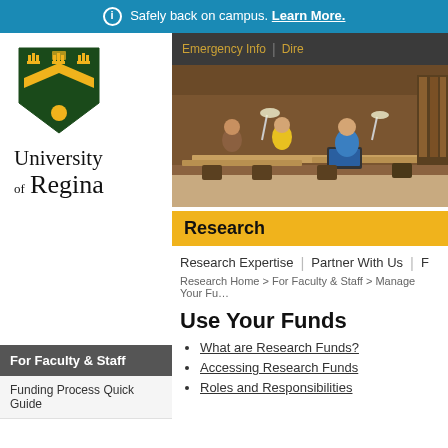ⓘ Safely back on campus. Learn More.
[Figure (logo): University of Regina crest/shield logo with crown and chevron design in green and gold]
University of Regina
[Figure (photo): Students studying at tables in a library with warm wood paneling and desk lamps]
Research
Research Expertise | Partner With Us |
Research Home > For Faculty & Staff > Manage Your Fu...
Use Your Funds
What are Research Funds?
Accessing Research Funds
Roles and Responsibilities
For Faculty & Staff
Funding Process Quick Guide